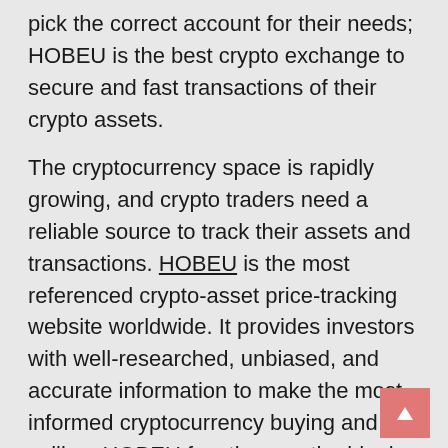platform helps new crypto users and traders pick the correct account for their needs; HOBEU is the best crypto exchange to secure and fast transactions of their crypto assets.
The cryptocurrency space is rapidly growing, and crypto traders need a reliable source to track their assets and transactions. HOBEU is the most referenced crypto-asset price-tracking website worldwide. It provides investors with well-researched, unbiased, and accurate information to make the most informed cryptocurrency buying and selling. HOBEU functions as the ideal crypto exchange overall and the convenient crypto exchange for beginners. It offers many supported cryptocurrencies and a high level of security. In addition to being a beginner-friendly